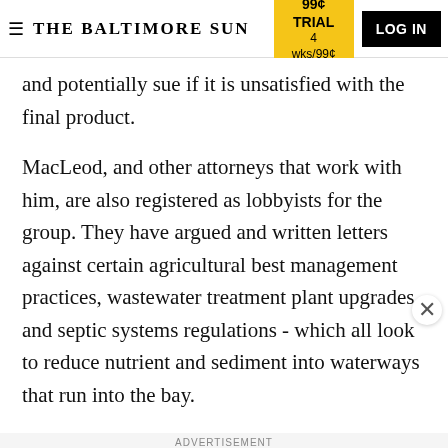THE BALTIMORE SUN | 99¢ TRIAL 4 wks/99¢ | LOG IN
and potentially sue if it is unsatisfied with the final product.
MacLeod, and other attorneys that work with him, are also registered as lobbyists for the group. They have argued and written letters against certain agricultural best management practices, wastewater treatment plant upgrades and septic systems regulations - which all look to reduce nutrient and sediment into waterways that run into the bay.
ADVERTISEMENT
[Figure (other): Advertisement banner: 'Advertise' text on left, 'TRIBUNE PUBLISHING' logo on right]